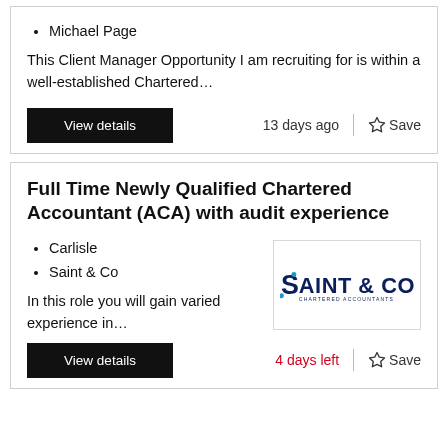Michael Page
This Client Manager Opportunity I am recruiting for is within a well-established Chartered…
View details
13 days ago
Save
Full Time Newly Qualified Chartered Accountant (ACA) with audit experience
Carlisle
Saint & Co
[Figure (logo): Saint & Co Chartered Accountants logo]
In this role you will gain varied experience in…
View details
4 days left
Save